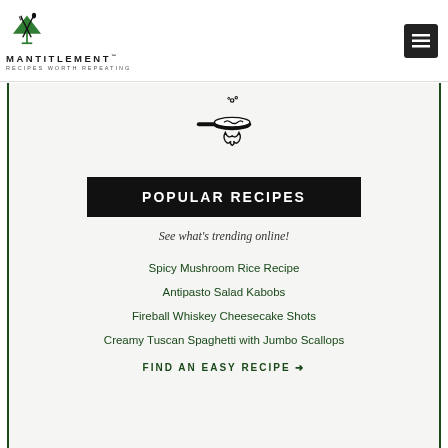[Figure (logo): Mantitlement logo with crossed fork and spoon over a martini glass in green, with text MANTITLEMENT and tagline RECIPES WORTH REPEATING]
[Figure (illustration): Black line drawing of a frying pan with food sautéing over a flame, with steam/bubbles rising]
POPULAR RECIPES
See what's trending online!
Spicy Mushroom Rice Recipe
Antipasto Salad Kabobs
Fireball Whiskey Cheesecake Shots
Creamy Tuscan Spaghetti with Jumbo Scallops
FIND AN EASY RECIPE →